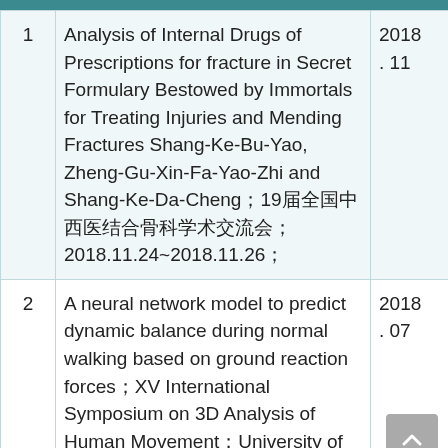| # | Title | Date |
| --- | --- | --- |
| 1 | Analysis of Internal Drugs of Prescriptions for fracture in Secret Formulary Bestowed by Immortals for Treating Injuries and Mending Fractures Shang-Ke-Bu-Yao, Zheng-Gu-Xin-Fa-Yao-Zhi and Shang-Ke-Da-Cheng；19届全国中西医结合骨科学术交流会；2018.11.24~2018.11.26； | 2018. 11 |
| 2 | A neural network model to predict dynamic balance during normal walking based on ground reaction forces；XV International Symposium on 3D Analysis of Human Movement；University of Salford, | 2018. 07 |